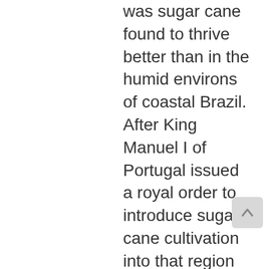was sugar cane found to thrive better than in the humid environs of coastal Brazil. After King Manuel I of Portugal issued a royal order to introduce sugar cane cultivation into that region in 1516, the Pernambuco area quickly became the veritable epicenter of sugar production in the Americas. The long-depleted soils and drier conditions of the Mediterranean were no match for Brazil's optimum climate for sugar cane cultivation, or for its abundance of fertile, well-watered, arable lands, and the ready availability of enslaved laborers. The era of the Mediterranean's nearly one thousand-year dominance of the sugar industry rapidly drew to a close. By the end of